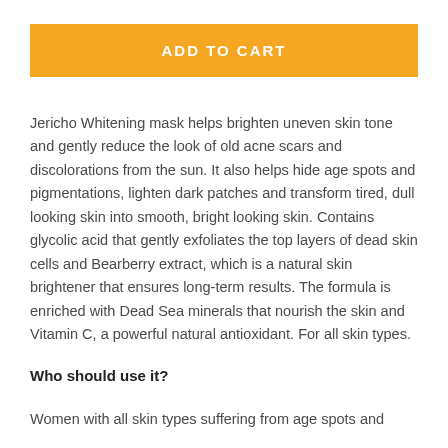ADD TO CART
Jericho Whitening mask helps brighten uneven skin tone and gently reduce the look of old acne scars and discolorations from the sun. It also helps hide age spots and pigmentations, lighten dark patches and transform tired, dull looking skin into smooth, bright looking skin. Contains glycolic acid that gently exfoliates the top layers of dead skin cells and Bearberry extract, which is a natural skin brightener that ensures long-term results. The formula is enriched with Dead Sea minerals that nourish the skin and Vitamin C, a powerful natural antioxidant. For all skin types.
Who should use it?
Women with all skin types suffering from age spots and